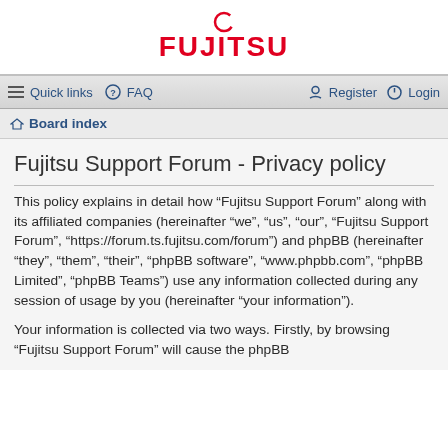FUJITSU
Quick links  FAQ  Register  Login
Board index
Fujitsu Support Forum - Privacy policy
This policy explains in detail how “Fujitsu Support Forum” along with its affiliated companies (hereinafter “we”, “us”, “our”, “Fujitsu Support Forum”, “https://forum.ts.fujitsu.com/forum”) and phpBB (hereinafter “they”, “them”, “their”, “phpBB software”, “www.phpbb.com”, “phpBB Limited”, “phpBB Teams”) use any information collected during any session of usage by you (hereinafter “your information”).
Your information is collected via two ways. Firstly, by browsing “Fujitsu Support Forum” will cause the phpBB